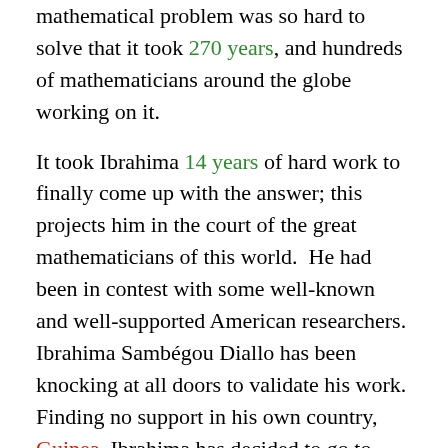mathematical problem was so hard to solve that it took 270 years, and hundreds of mathematicians around the globe working on it.
It took Ibrahima 14 years of hard work to finally come up with the answer; this projects him in the court of the great mathematicians of this world.  He had been in contest with some well-known and well-supported American researchers.  Ibrahima Sambégou Diallo has been knocking at all doors to validate his work.  Finding no support in his own country, Guinea, Ibrahima has decided to go to Dakar to validate his results at the mathematics institute there. He hopes to find support so as to become the first contemporary African to have elaborated a theorem.  For the full